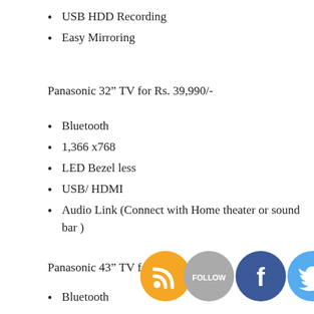USB HDD Recording
Easy Mirroring
Panasonic 32” TV for Rs. 39,990/-
Bluetooth
1,366 x768
LED Bezel less
USB/ HDMI
Audio Link (Connect with Home theater or sound bar )
Panasonic 43” TV for Rs.
Bluetooth